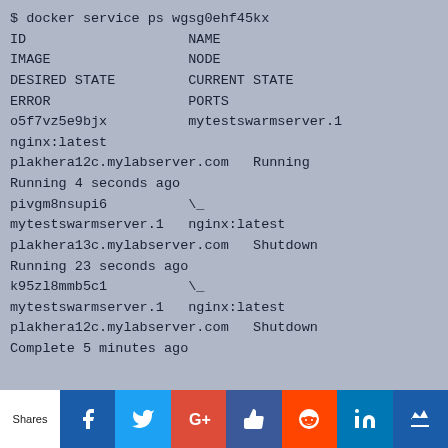$ docker service ps wgsg0ehf45kx
ID                    NAME
IMAGE                 NODE
DESIRED STATE         CURRENT STATE
ERROR                 PORTS
o5f7vz5e9bjx          mytestswarmserver.1
nginx:latest
plakhera12c.mylabserver.com   Running
Running 4 seconds ago
pivgm8nsupi6          \_ 
mytestswarmserver.1   nginx:latest
plakhera13c.mylabserver.com   Shutdown
Running 23 seconds ago
k95zl8mmb5c1          \_ 
mytestswarmserver.1   nginx:latest
plakhera12c.mylabserver.com   Shutdown
Complete 5 minutes ago
[Figure (infographic): Social share bar with icons: Shares label, Facebook, Twitter, Google+, Like/Thumbs up, Reddit, LinkedIn, Crown/bookmark]